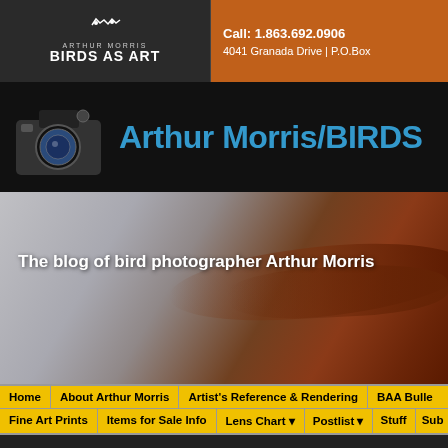Arthur Morris BIRDS AS ART | Call: 1.863.692.0906 | 4041 Granada Drive | P.O.Box ...
Arthur Morris/BIRDS
[Figure (photo): Bird feather close-up photo showing a reddish-brown feather on a light gray background, with blog title text overlay: The blog of bird photographer Arthur Morris]
The blog of bird photographer Arthur Morris
Home | About Arthur Morris | Artist's Reference & Rendering | BAA Bulle... | Fine Art Prints | Items for Sale Info | Lens Chart | Postlist | Stuff | Sub...
« More on Working a Subject ...